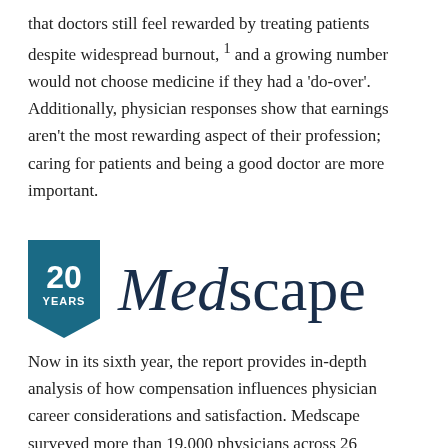that doctors still feel rewarded by treating patients despite widespread burnout, 1 and a growing number would not choose medicine if they had a 'do-over'. Additionally, physician responses show that earnings aren't the most rewarding aspect of their profession; caring for patients and being a good doctor are more important.
[Figure (logo): Medscape 20 Years logo. A teal pennant/banner shape on the left with '20' in large white bold text and 'YEARS' below it. To the right, the Medscape wordmark in dark navy, with 'Med' in italic serif and 'scape' in roman serif.]
Now in its sixth year, the report provides in-depth analysis of how compensation influences physician career considerations and satisfaction. Medscape surveyed more than 19,000 physicians across 26 specialties. Most specialties saw an increase in pay last year from between four percent to 12